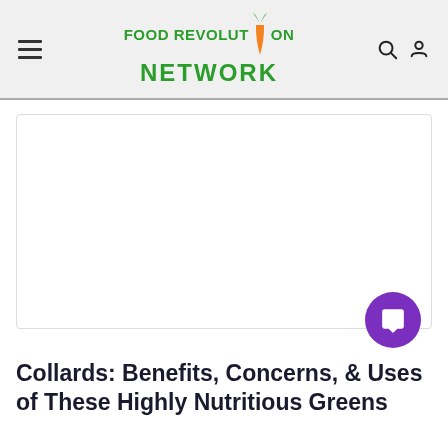Food Revolution Network
[Figure (photo): White/blank article hero image placeholder with a light border]
Collards: Benefits, Concerns, & Uses of These Highly Nutritious Greens